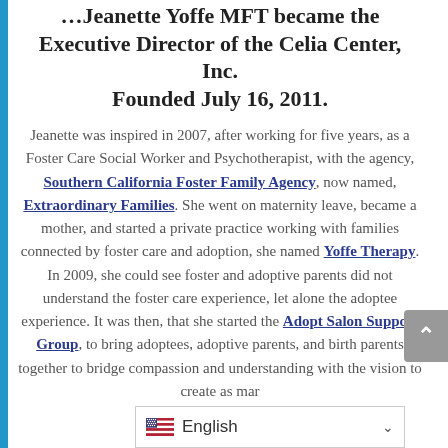Jeanette Yoffe MFT became the Executive Director of the Celia Center, Inc. Founded July 16, 2011.
Jeanette was inspired in 2007, after working for five years, as a Foster Care Social Worker and Psychotherapist, with the agency, Southern California Foster Family Agency, now named, Extraordinary Families. She went on maternity leave, became a mother, and started a private practice working with families connected by foster care and adoption, she named Yoffe Therapy. In 2009, she could see foster and adoptive parents did not understand the foster care experience, let alone the adoptee experience. It was then, that she started the Adopt Salon Support Group, to bring adoptees, adoptive parents, and birth parents together to bridge compassion and understanding with the vision to create as many...